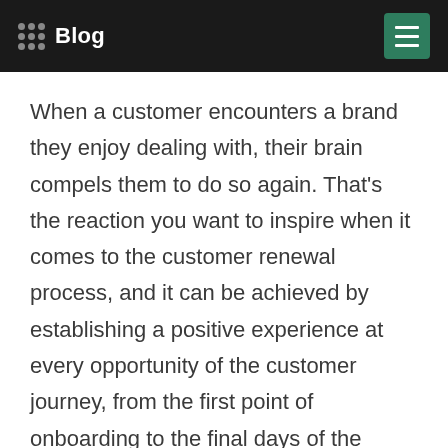Blog
When a customer encounters a brand they enjoy dealing with, their brain compels them to do so again. That's the reaction you want to inspire when it comes to the customer renewal process, and it can be achieved by establishing a positive experience at every opportunity of the customer journey, from the first point of onboarding to the final days of the renewal process.
The rate at which customers renew determines the speed at which your